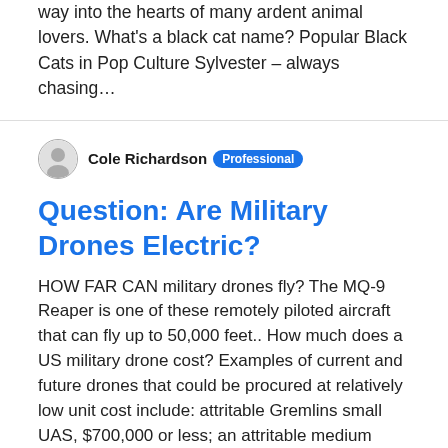way into the hearts of many ardent animal lovers. What's a black cat name? Popular Black Cats in Pop Culture Sylvester – always chasing…
[Figure (illustration): Circular avatar/profile icon of Cole Richardson]
Cole Richardson  Professional
Question: Are Military Drones Electric?
HOW FAR CAN military drones fly? The MQ-9 Reaper is one of these remotely piloted aircraft that can fly up to 50,000 feet.. How much does a US military drone cost? Examples of current and future drones that could be procured at relatively low unit cost include: attritable Gremlins small UAS, $700,000 or less; an attritable medium UAS, $1 million or less; attritable Valkyrie medium-to large-sized platforms, $2 million to $3